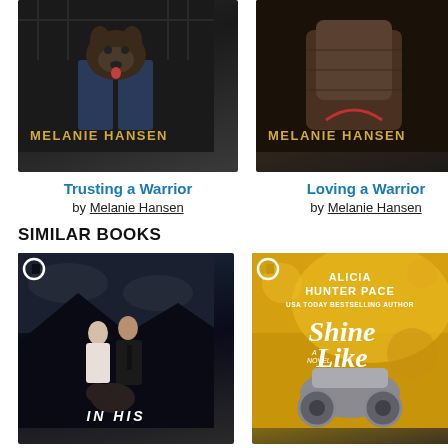[Figure (photo): Book cover: Trusting a Warrior by Melanie Hansen, dark cover with a dog and a person, gold author name text]
[Figure (photo): Book cover: Loving a Warrior by Melanie Hansen, dark warm-toned cover, gold author name text]
Trusting a Warrior
by Melanie Hansen
Loving a Warrior
by Melanie Hansen
SIMILAR BOOKS
[Figure (photo): Book cover: In His (title cut off), Carina Press logo, two people and a dog, dark moody tones]
[Figure (photo): Book cover: Shine Like (title cut off) by Alicia Hunter Pace, USA Today Bestselling Author, Carina Press logo, golden warm background with a motorcycle detail]